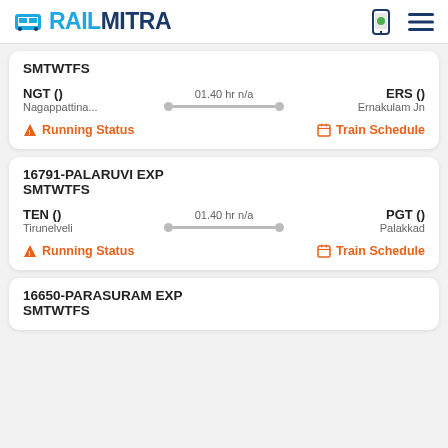RAILMITRA
SMTWTFS
NGT ()
Nagappattina...
01.40 hr n/a
ERS ()
Ernakulam Jn
Running Status   Train Schedule
16791-PALARUVI EXP
SMTWTFS
TEN ()
Tirunelveli
01.40 hr n/a
PGT ()
Palakkad
Running Status   Train Schedule
16650-PARASURAM EXP
SMTWTFS